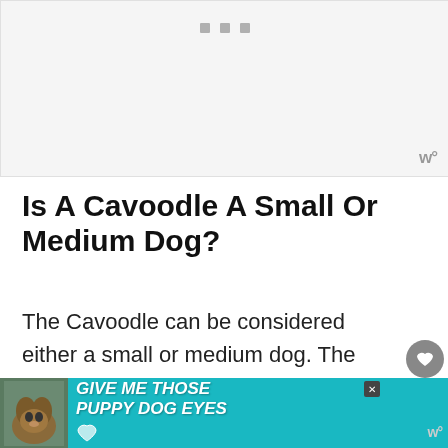[Figure (other): Gray placeholder advertisement banner at top of page with three small gray squares/dots centered near top and a 'W°' watermark logo at bottom right]
Is A Cavoodle A Small Or Medium Dog?
The Cavoodle can be considered either a small or medium dog. The smaller version of the Cavoodle will fall under the category of small dog...
[Figure (other): Teal/cyan advertisement banner at bottom reading 'GIVE ME THOSE PUPPY DOG EYES' with a dog photo on the left, a heart icon, and a close button. Wordmark 'W°' on right side.]